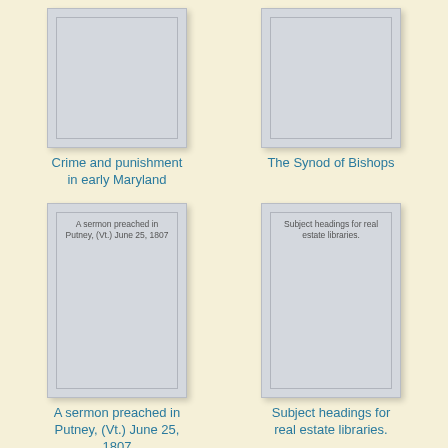[Figure (illustration): Book cover placeholder (gray rectangle) for 'Crime and punishment in early Maryland']
Crime and punishment in early Maryland
[Figure (illustration): Book cover placeholder (gray rectangle) for 'The Synod of Bishops']
The Synod of Bishops
[Figure (illustration): Book cover with text 'A sermon preached in Putney, (Vt.) June 25, 1807']
A sermon preached in Putney, (Vt.) June 25, 1807
[Figure (illustration): Book cover with text 'Subject headings for real estate libraries.']
Subject headings for real estate libraries.